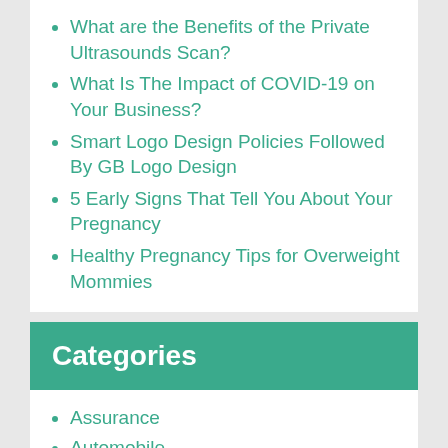What are the Benefits of the Private Ultrasounds Scan?
What Is The Impact of COVID-19 on Your Business?
Smart Logo Design Policies Followed By GB Logo Design
5 Early Signs That Tell You About Your Pregnancy
Healthy Pregnancy Tips for Overweight Mommies
Categories
Assurance
Automobile
Business
Design
Entertainment
Fashion